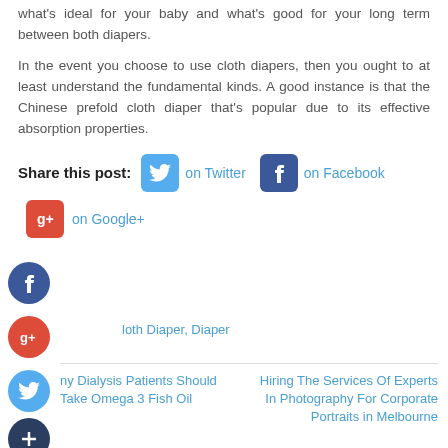what's ideal for your baby and what's good for your long term between both diapers.
In the event you choose to use cloth diapers, then you ought to at least understand the fundamental kinds. A good instance is that the Chinese prefold cloth diaper that's popular due to its effective absorption properties.
[Figure (infographic): Share this post row with Twitter and Facebook icons and buttons, followed by Google+ button row, and social media circular icon buttons (Facebook, Google+, Twitter, plus)]
loth Diaper, Diaper
ny Dialysis Patients Should Take Omega 3 Fish Oil
Hiring The Services Of Experts In Photography For Corporate Portraits in Melbourne